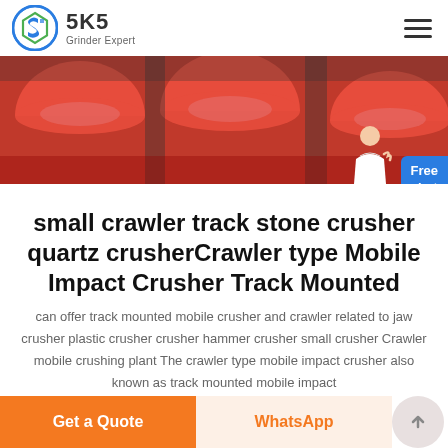SKS Grinder Expert
[Figure (photo): Red industrial stone crusher machinery components, close-up view showing cylindrical red metal parts]
small crawler track stone crusher quartz crusherCrawler type Mobile Impact Crusher Track Mounted
can offer track mounted mobile crusher and crawler related to jaw crusher plastic crusher crusher hammer crusher small crusher Crawler mobile crushing plant The crawler type mobile impact crusher also known as track mounted mobile impact
Get a Quote | WhatsApp